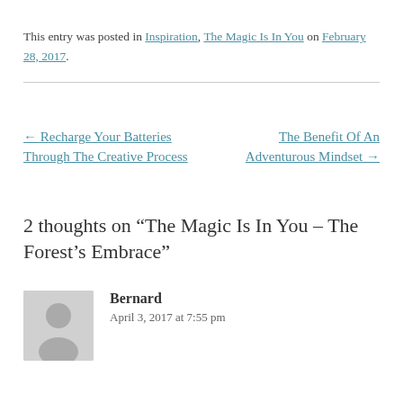This entry was posted in Inspiration, The Magic Is In You on February 28, 2017.
← Recharge Your Batteries Through The Creative Process
The Benefit Of An Adventurous Mindset →
2 thoughts on “The Magic Is In You – The Forest’s Embrace”
Bernard
April 3, 2017 at 7:55 pm